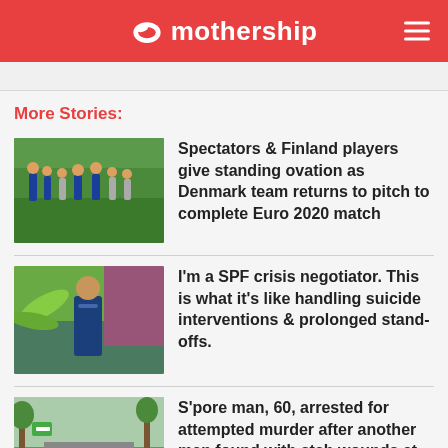mothership
More Stories:
[Figure (photo): Football players in blue uniforms on a green pitch]
Spectators & Finland players give standing ovation as Denmark team returns to pitch to complete Euro 2020 match
[Figure (photo): Person wearing blue uniform and face mask standing outdoors near tropical plants]
I'm a SPF crisis negotiator. This is what it's like handling suicide interventions & prolonged stand-offs.
[Figure (photo): Residential road with trees and street signs in Singapore]
S'pore man, 60, arrested for attempted murder after another man found with stab wounds at Choa Chu